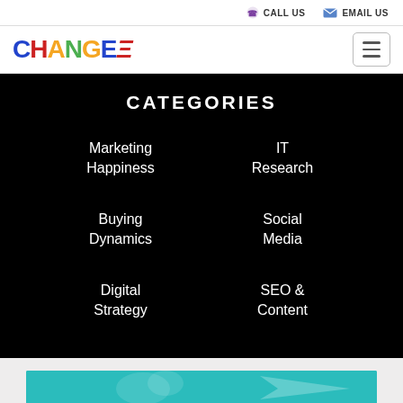CALL US  EMAIL US
[Figure (logo): CHANGEE colorful logo with hamburger menu button]
CATEGORIES
Marketing
Happiness
IT
Research
Buying
Dynamics
Social
Media
Digital
Strategy
SEO &
Content
[Figure (illustration): Teal/turquoise banner section at bottom of page, partially visible]